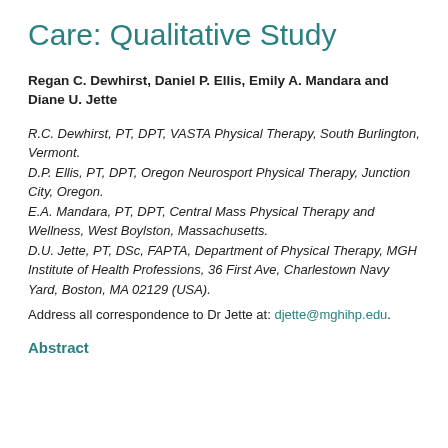Care: Qualitative Study
Regan C. Dewhirst, Daniel P. Ellis, Emily A. Mandara and Diane U. Jette
R.C. Dewhirst, PT, DPT, VASTA Physical Therapy, South Burlington, Vermont.
D.P. Ellis, PT, DPT, Oregon Neurosport Physical Therapy, Junction City, Oregon.
E.A. Mandara, PT, DPT, Central Mass Physical Therapy and Wellness, West Boylston, Massachusetts.
D.U. Jette, PT, DSc, FAPTA, Department of Physical Therapy, MGH Institute of Health Professions, 36 First Ave, Charlestown Navy Yard, Boston, MA 02129 (USA).
Address all correspondence to Dr Jette at: djette@mghihp.edu.
Abstract